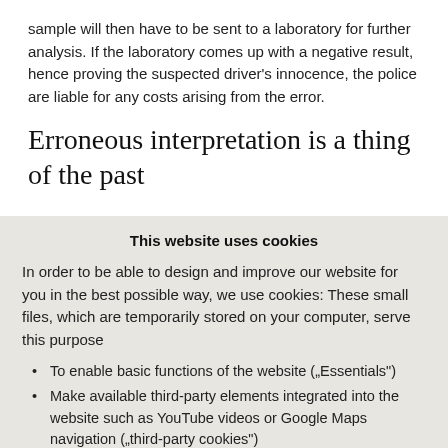sample will then have to be sent to a laboratory for further analysis. If the laboratory comes up with a negative result, hence proving the suspected driver's innocence, the police are liable for any costs arising from the error.
Erroneous interpretation is a thing of the past
This website uses cookies
In order to be able to design and improve our website for you in the best possible way, we use cookies: These small files, which are temporarily stored on your computer, serve this purpose
To enable basic functions of the website („Essentials“)
Make available third-party elements integrated into the website such as YouTube videos or Google Maps navigation („third-party cookies“)
To operate statistical and tracking tools to understand how site visitors use the site and to implement